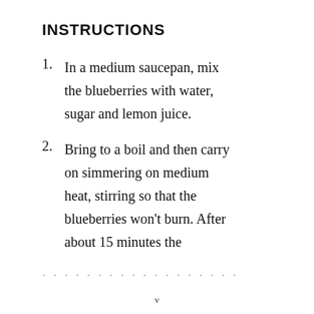INSTRUCTIONS
In a medium saucepan, mix the blueberries with water, sugar and lemon juice.
Bring to a boil and then carry on simmering on medium heat, stirring so that the blueberries won't burn. After about 15 minutes the
v